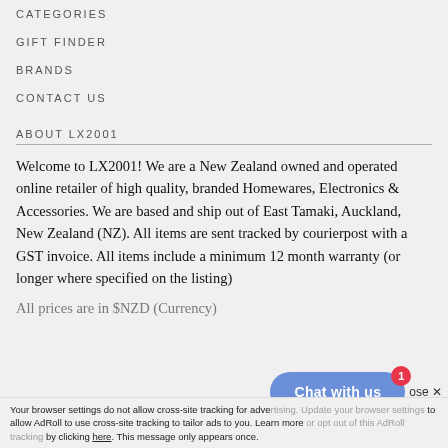CATEGORIES
GIFT FINDER
BRANDS
CONTACT US
ABOUT LX2001
Welcome to LX2001! We are a New Zealand owned and operated online retailer of high quality, branded Homewares, Electronics & Accessories. We are based and ship out of East Tamaki, Auckland, New Zealand (NZ). All items are sent tracked by courierpost with a GST invoice. All items include a minimum 12 month warranty (or longer where specified on the listing)
All prices are in $NZD (Currency)
Your browser settings do not allow cross-site tracking for advertising. Update your browser settings to allow AdRoll to use cross-site tracking to tailor ads to you. Learn more or opt out of this AdRoll tracking by clicking here. This message only appears once.